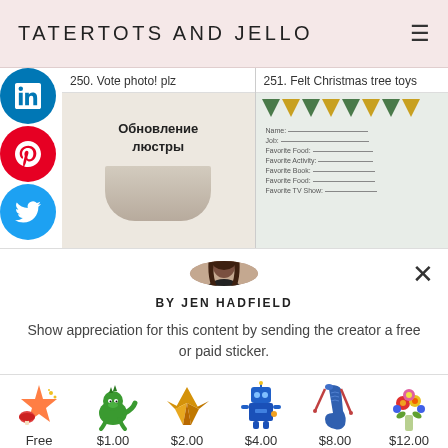TATERTOTS AND JELLO
250. Vote photo! plz
251. Felt Christmas tree toys
[Figure (photo): Thumbnail image with Russian text 'Обновление люстры' (chandelier update) over a photo of a chandelier]
[Figure (photo): Thumbnail image showing a Christmas-themed form/printable with decorative banner]
[Figure (photo): Circular avatar photo of Jen Hadfield, a woman with long dark hair wearing black]
BY JEN HADFIELD
Show appreciation for this content by sending the creator a free or paid sticker.
[Figure (illustration): Free sticker: festive star/mushroom/firework emoji illustration]
Free
[Figure (illustration): $1.00 sticker: green dinosaur illustration]
$1.00
[Figure (illustration): $2.00 sticker: gold origami crane illustration]
$2.00
[Figure (illustration): $4.00 sticker: blue robot illustration]
$4.00
[Figure (illustration): $8.00 sticker: knitting/socks illustration]
$8.00
[Figure (illustration): $12.00 sticker: flower bouquet illustration]
$12.00